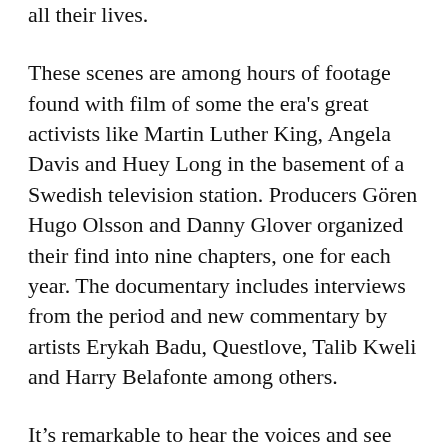all their lives.
These scenes are among hours of footage found with film of some the era's great activists like Martin Luther King, Angela Davis and Huey Long in the basement of a Swedish television station. Producers Gören Hugo Olsson and Danny Glover organized their find into nine chapters, one for each year. The documentary includes interviews from the period and new commentary by artists Erykah Badu, Questlove, Talib Kweli and Harry Belafonte among others.
It's remarkable to hear the voices and see the faces of black leaders who most of us have only read about. I realized while watching the film that although I read